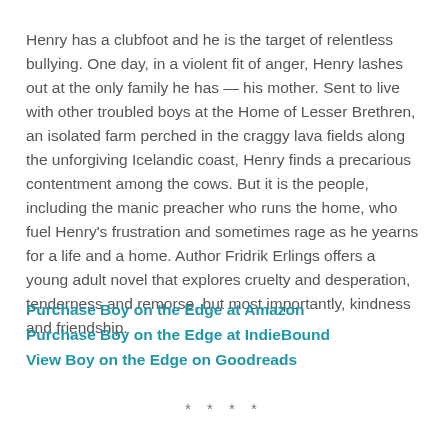Henry has a clubfoot and he is the target of relentless bullying. One day, in a violent fit of anger, Henry lashes out at the only family he has — his mother. Sent to live with other troubled boys at the Home of Lesser Brethren, an isolated farm perched in the craggy lava fields along the unforgiving Icelandic coast, Henry finds a precarious contentment among the cows. But it is the people, including the manic preacher who runs the home, who fuel Henry's frustration and sometimes rage as he yearns for a life and a home. Author Fridrik Erlings offers a young adult novel that explores cruelty and desperation, tenderness and remorse, but most importantly, kindness and friendship.
Purchase Boy on the Edge at Amazon
Purchase Boy on the Edge at IndieBound
View Boy on the Edge on Goodreads
* * * *